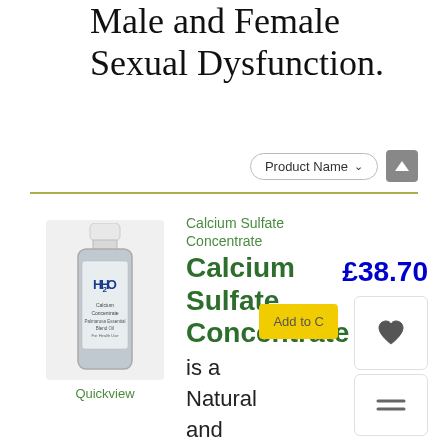Male and Female Sexual Dysfunction.
Product Name
[Figure (photo): Bottle of H2O Calcium Sulfate Concentrate product with white cap and grey bottle]
Quickview
Calcium Sulfate Concentrate
Calcium Sulfate Concentrate
£38.70
Add to C
is a Natural and